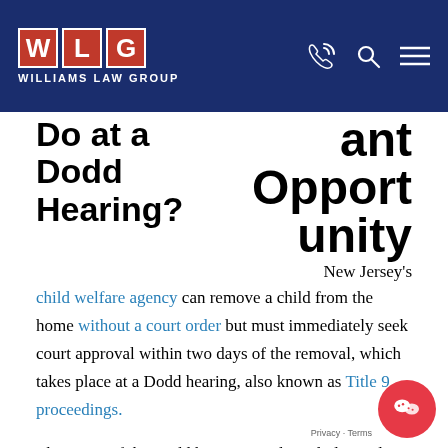WLG WILLIAMS LAW GROUP
Do at a Dodd Hearing? — Important Opportunity
New Jersey's child welfare agency can remove a child from the home without a court order but must immediately seek court approval within two days of the removal, which takes place at a Dodd hearing, also known as Title 9 proceedings.

The scope of the Dodd hearing is relatively limited. The will determine whether continued removal of the child is necessary (i.e. whether the child can safely go home), and, if it